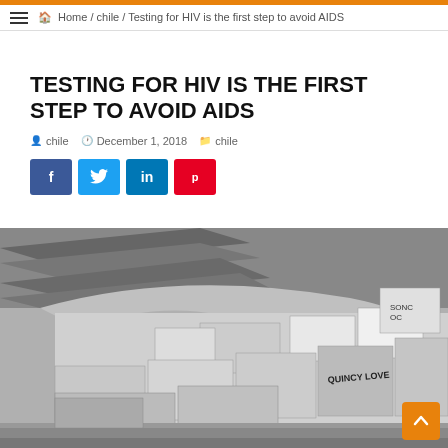Home / chile / Testing for HIV is the first step to avoid AIDS
TESTING FOR HIV IS THE FIRST STEP TO AVOID AIDS
chile   December 1, 2018   chile
[Figure (other): Social media sharing buttons: Facebook (f), Twitter (bird), LinkedIn (in), Pinterest (p)]
[Figure (photo): Black and white photograph of an indoor exhibition space with large decorative banners or quilts hanging from the ceiling and walls, containing various artworks and text including 'SONG', 'QUINCY LOVE', and other inscriptions.]